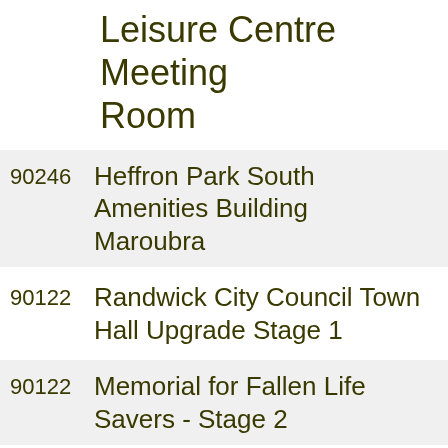Leisure Centre Meeting Room
| 90246 | Heffron Park South Amenities Building Maroubra |
| 90122 | Randwick City Council Town Hall Upgrade Stage 1 |
| 90122 | Memorial for Fallen Life Savers - Stage 2 |